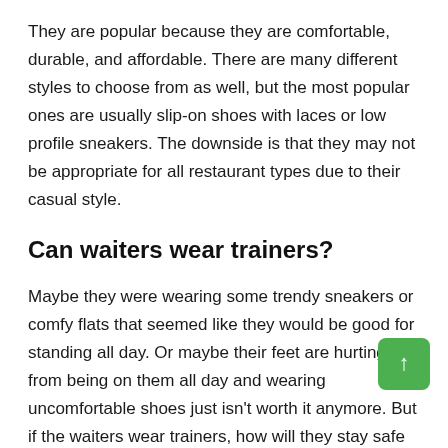They are popular because they are comfortable, durable, and affordable. There are many different styles to choose from as well, but the most popular ones are usually slip-on shoes with laces or low profile sneakers. The downside is that they may not be appropriate for all restaurant types due to their casual style.
Can waiters wear trainers?
Maybe they were wearing some trendy sneakers or comfy flats that seemed like they would be good for standing all day. Or maybe their feet are hurting from being on them all day and wearing uncomfortable shoes just isn't worth it anymore. But if the waiters wear trainers, how will they stay safe at work? Won't somebody get hurt? This blog post is going to explore what kind of footwear waiters can wear while still taking